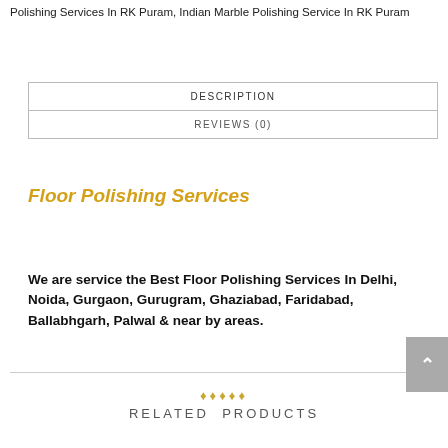Polishing Services In RK Puram, Indian Marble Polishing Service In RK Puram
| Tab |
| --- |
| DESCRIPTION |
| REVIEWS (0) |
Floor Polishing Services
We are service the Best Floor Polishing Services In Delhi, Noida, Gurgaon, Gurugram, Ghaziabad, Faridabad, Ballabhgarh, Palwal & near by areas.
RELATED PRODUCTS